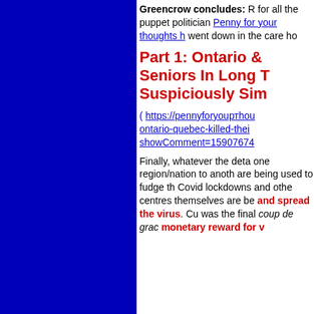Greencrow concludes: R for all the puppet politician Penny for your thoughts h went down in the care ho
Part 1: Ontario & Seniors In Long T Suspiciously Sim
( https://pennyforyouртhou ontario-quebec-killed-thei showComment=15907674
Finally, whatever the deta one region/nation to anoth are being used to fudge th Covid lockdowns and othe centres themselves are be and spread the virus. Cu was the final coup de gra monetary reward for v